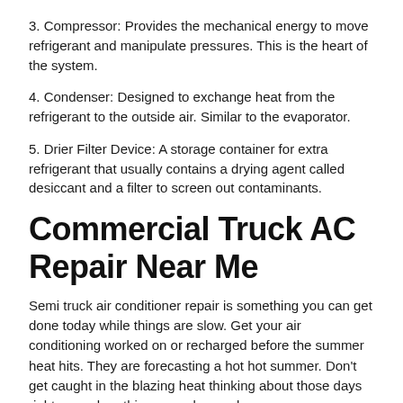3. Compressor: Provides the mechanical energy to move refrigerant and manipulate pressures. This is the heart of the system.
4. Condenser: Designed to exchange heat from the refrigerant to the outside air. Similar to the evaporator.
5. Drier Filter Device: A storage container for extra refrigerant that usually contains a drying agent called desiccant and a filter to screen out contaminants.
Commercial Truck AC Repair Near Me
Semi truck air conditioner repair is something you can get done today while things are slow. Get your air conditioning worked on or recharged before the summer heat hits. They are forecasting a hot hot summer. Don't get caught in the blazing heat thinking about those days right now when things are slow and